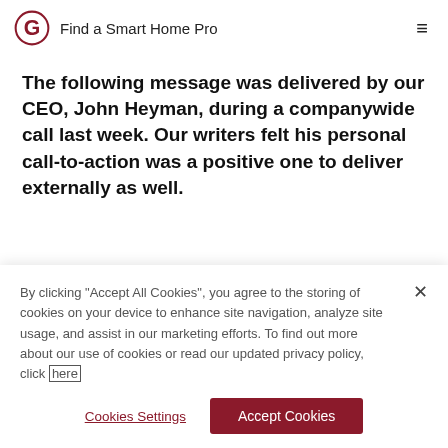Find a Smart Home Pro
The following message was delivered by our CEO, John Heyman, during a companywide call last week. Our writers felt his personal call-to-action was a positive one to deliver externally as well.
By clicking "Accept All Cookies", you agree to the storing of cookies on your device to enhance site navigation, analyze site usage, and assist in our marketing efforts. To find out more about our use of cookies or read our updated privacy policy, click here
Cookies Settings
Accept Cookies